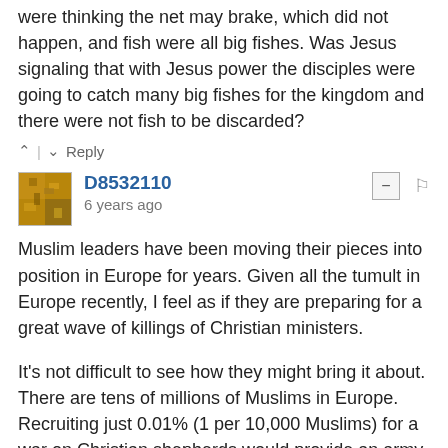were thinking the net may brake, which did not happen, and fish were all big fishes. Was Jesus signaling that with Jesus power the disciples were going to catch many big fishes for the kingdom and there were not fish to be discarded?
^ | v  Reply
D8532110
6 years ago
Muslim leaders have been moving their pieces into position in Europe for years. Given all the tumult in Europe recently, I feel as if they are preparing for a great wave of killings of Christian ministers.
It's not difficult to see how they might bring it about. There are tens of millions of Muslims in Europe. Recruiting just 0.01% (1 per 10,000 Muslims) for a war on Christian shepherds would provide an army of 5,000 assuming 50m Muslims in all.
Now, how many Christian ministers are in western Europe? How many could a single motivated "lion" of